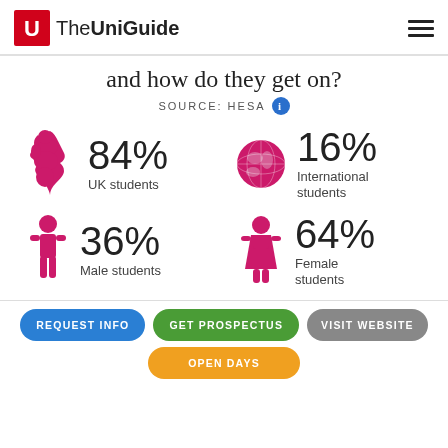The UniGuide
and how do they get on?
SOURCE: HESA
[Figure (infographic): Four statistics shown as icons with large percentage text: 84% UK students (UK map icon), 16% International students (globe icon), 36% Male students (male figure icon), 64% Female students (female figure icon). All icons in pink/magenta color.]
REQUEST INFO
GET PROSPECTUS
VISIT WEBSITE
OPEN DAYS